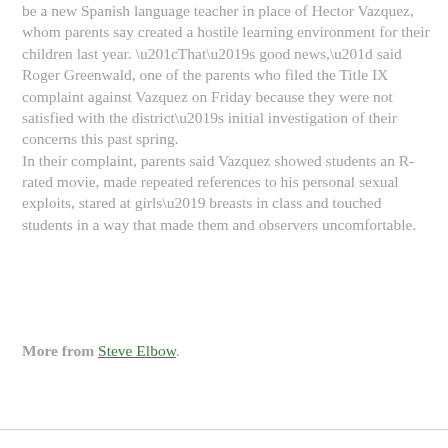be a new Spanish language teacher in place of Hector Vazquez, whom parents say created a hostile learning environment for their children last year. “That’s good news,” said Roger Greenwald, one of the parents who filed the Title IX complaint against Vazquez on Friday because they were not satisfied with the district’s initial investigation of their concerns this past spring.
In their complaint, parents said Vazquez showed students an R-rated movie, made repeated references to his personal sexual exploits, stared at girls’ breasts in class and touched students in a way that made them and observers uncomfortable.
More from Steve Elbow.